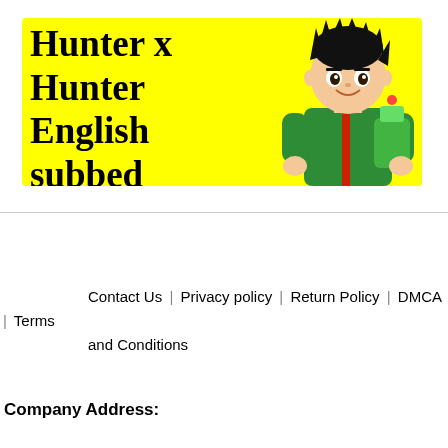[Figure (illustration): Yellow banner image with black bold text reading 'Hunter x Hunter English subbed Episode 79' and an anime character (Gon from Hunter x Hunter) on the right side holding something green, with a green jacket and spiky black hair.]
Contact Us | Privacy policy | Return Policy | DMCA | Terms and Conditions
Company Address: